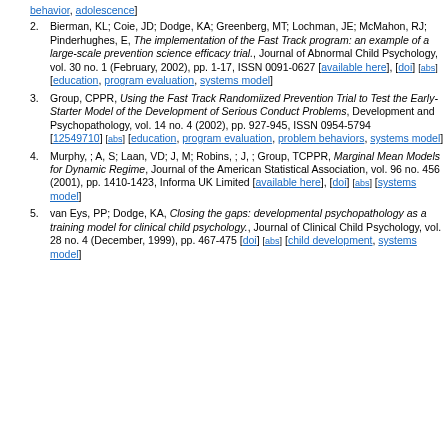behavior, adolescence]
Bierman, KL; Coie, JD; Dodge, KA; Greenberg, MT; Lochman, JE; McMahon, RJ; Pinderhughes, E, The implementation of the Fast Track program: an example of a large-scale prevention science efficacy trial., Journal of Abnormal Child Psychology, vol. 30 no. 1 (February, 2002), pp. 1-17, ISSN 0091-0627 [available here], [doi] [abs] [education, program evaluation, systems model]
Group, CPPR, Using the Fast Track Randomiized Prevention Trial to Test the Early-Starter Model of the Development of Serious Conduct Problems, Development and Psychopathology, vol. 14 no. 4 (2002), pp. 927-945, ISSN 0954-5794 [12549710] [abs] [education, program evaluation, problem behaviors, systems model]
Murphy, ; A, S; Laan, VD; J, M; Robins, ; J, ; Group, TCPPR, Marginal Mean Models for Dynamic Regime, Journal of the American Statistical Association, vol. 96 no. 456 (2001), pp. 1410-1423, Informa UK Limited [available here], [doi] [abs] [systems model]
van Eys, PP; Dodge, KA, Closing the gaps: developmental psychopathology as a training model for clinical child psychology., Journal of Clinical Child Psychology, vol. 28 no. 4 (December, 1999), pp. 467-475 [doi] [abs] [child development, systems model]